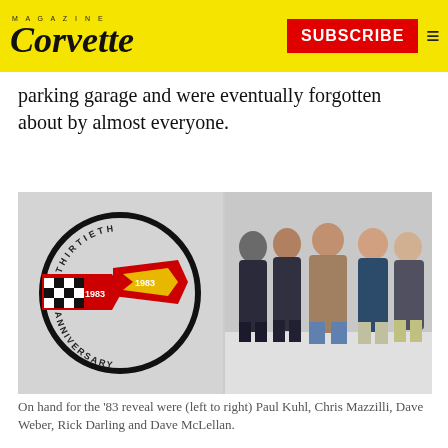Corvette Magazine — SUBSCRIBE
parking garage and were eventually forgotten about by almost everyone.
[Figure (illustration): Left panel: Corvette Thirtieth Anniversary 1983 badge/logo illustration with checkered flags and red/yellow design on grey background. Right panel: Group of five men standing in a circle talking in a studio setting.]
On hand for the '83 reveal were (left to right) Paul Kuhl, Chris Mazzilli, Dave Weber, Rick Darling and Dave McLellan.